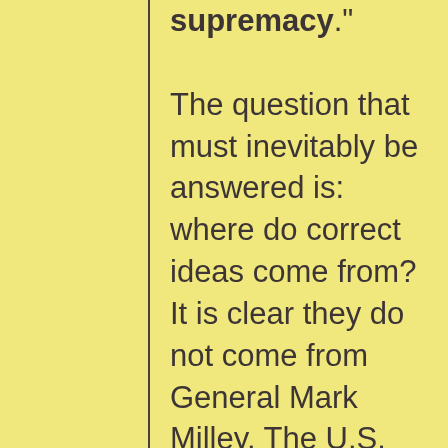supremacy." The question that must inevitably be answered is: where do correct ideas come from? It is clear they do not come from General Mark Milley. The U.S.